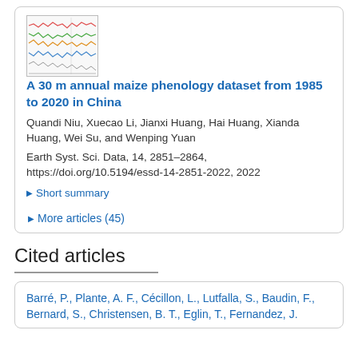[Figure (screenshot): Thumbnail image of a figure showing line charts with multiple colored lines representing phenology data]
A 30 m annual maize phenology dataset from 1985 to 2020 in China
Quandi Niu, Xuecao Li, Jianxi Huang, Hai Huang, Xianda Huang, Wei Su, and Wenping Yuan
Earth Syst. Sci. Data, 14, 2851–2864, https://doi.org/10.5194/essd-14-2851-2022, 2022
▶ Short summary
▶ More articles (45)
Cited articles
Barré, P., Plante, A. F., Cécillon, L., Lutfalla, S., Baudin, F., Bernard, S., Christensen, B. T., Eglin, T., Fernandez, J.